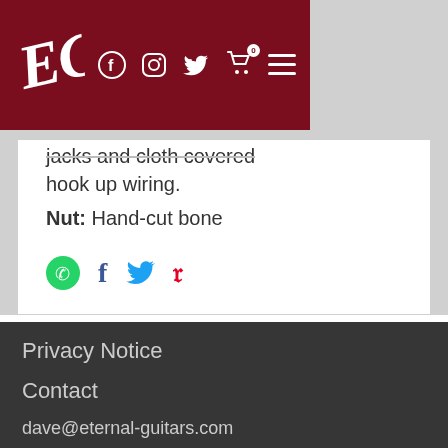EGR logo with navigation icons: Facebook, Instagram, Twitter, Cart (0), Menu
jacks and cloth covered hook up wiring.
Nut: Hand-cut bone
[Figure (infographic): Social share icons: WhatsApp, Facebook, Twitter, Pinterest]
Privacy Notice
Contact
dave@eternal-guitars.com
[Figure (infographic): Footer social icons: Facebook, Instagram, Twitter]
Copyright ©2019 Eternal Guitars.